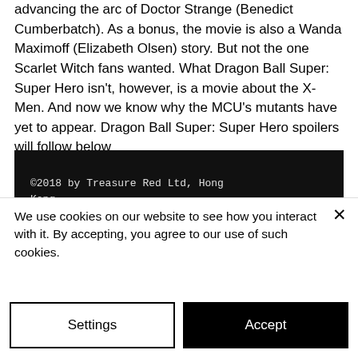advancing the arc of Doctor Strange (Benedict Cumberbatch). As a bonus, the movie is also a Wanda Maximoff (Elizabeth Olsen) story. But not the one Scarlet Witch fans wanted. What Dragon Ball Super: Super Hero isn't, however, is a movie about the X-Men. And now we know why the MCU's mutants have yet to appear. Dragon Ball Super: Super Hero spoilers will follow below
[Figure (screenshot): Dark/black background image showing copyright text: '©2018 by Treasure Red Ltd, Hong Kong.' and 'Join our mailing list for updates, events and recipes.' in white monospace font.]
We use cookies on our website to see how you interact with it. By accepting, you agree to our use of such cookies.
Settings
Accept